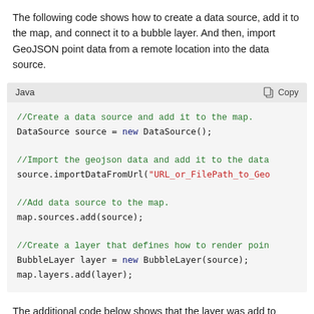The following code shows how to create a data source, add it to the map, and connect it to a bubble layer. And then, import GeoJSON point data from a remote location into the data source.
[Figure (screenshot): Java code block with header 'Java' and Copy button. Code shows: //Create a data source and add it to the map. DataSource source = new DataSource(); //Import the geojson data and add it to the data source.importDataFromUrl("URL_or_FilePath_to_Geo //Add data source to the map. map.sources.add(source); //Create a layer that defines how to render poi BubbleLayer layer = new BubbleLayer(source); map.layers.add(layer);]
The additional code below shows that the layer was add to...